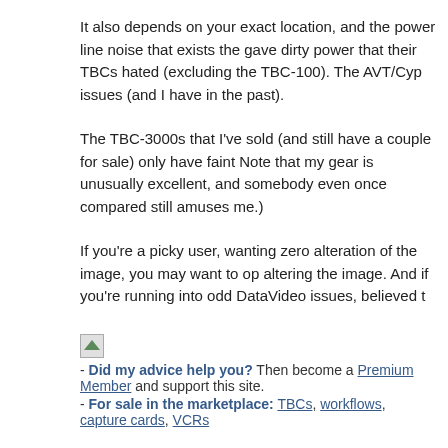It also depends on your exact location, and the power line noise that exists the gave dirty power that their TBCs hated (excluding the TBC-100). The AVT/Cyp issues (and I have in the past).
The TBC-3000s that I've sold (and still have a couple for sale) only have faint Note that my gear is unusually excellent, and somebody even once compared still amuses me.)
If you're a picky user, wanting zero alteration of the image, you may want to op altering the image. And if you're running into odd DataVideo issues, believed t
[Figure (illustration): Small broken image icon placeholder]
- Did my advice help you? Then become a Premium Member and support this site.
- For sale in the marketplace: TBCs, workflows, capture cards, VCRs
05-02-2018, 10:30 AM
Acden
Free Member